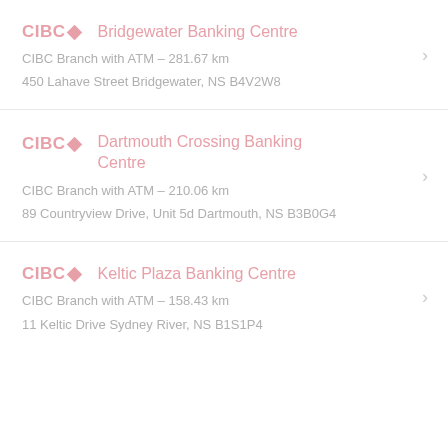CIBC Bridgewater Banking Centre
CIBC Branch with ATM – 281.67 km
450 Lahave Street Bridgewater, NS B4V2W8
CIBC Dartmouth Crossing Banking Centre
CIBC Branch with ATM – 210.06 km
89 Countryview Drive, Unit 5d Dartmouth, NS B3B0G4
CIBC Keltic Plaza Banking Centre
CIBC Branch with ATM – 158.43 km
11 Keltic Drive Sydney River, NS B1S1P4